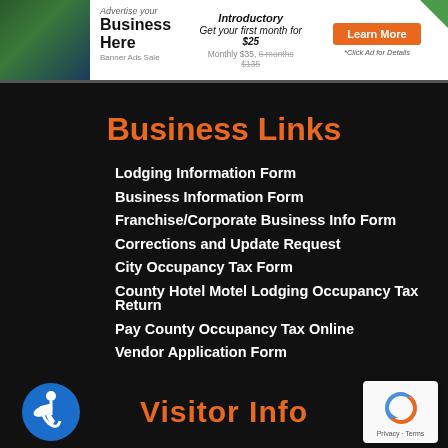[Figure (infographic): Advertisement banner: 'Advertise your Business Here - Banner Ads Sale'. Introductory offer: Get your first month for $25, Monthly $35, 6 months $135. Orange 'Learn More' button. Green corner accent.]
Business Links
Lodging Information Form
Business Information Form
Franchise/Corporate Business Info Form
Corrections and Update Request
City Occupancy Tax Form
County Hotel Motel Lodging Occupancy Tax Return
Pay County Occupancy Tax Online
Vendor Application Form
Visitor Info